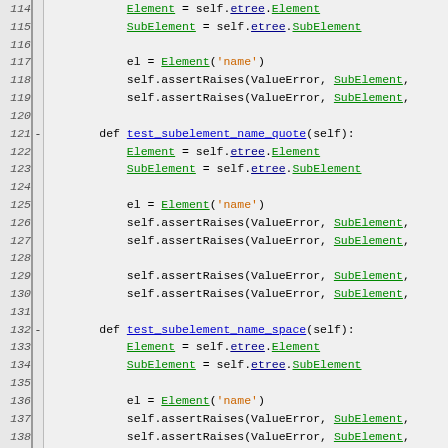[Figure (screenshot): Python source code snippet showing lines 114-143 of a test file, with line numbers, diff markers, and syntax highlighting. Code contains test methods for subelement name validation including test_subelement_name_quote, test_subelement_name_space, and test_qname_empty.]